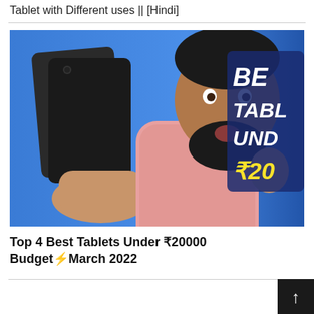Tablet with Different uses || [Hindi]
[Figure (photo): Thumbnail image of a man in a pink checkered shirt holding up a dark tablet, with text overlay reading 'BEST TABLETS UNDER ₹20...' on a blue background]
Top 4 Best Tablets Under ₹20000 Budget⚡March 2022